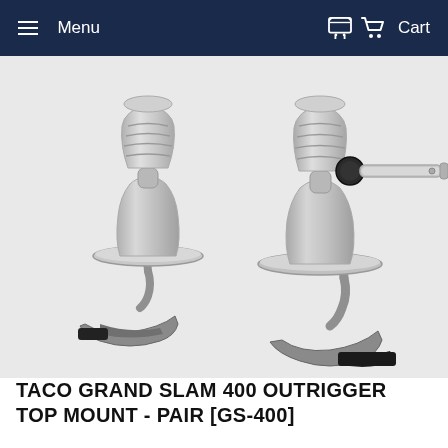Menu   Cart
[Figure (photo): Two stainless steel TACO Grand Slam 400 outrigger top mount hardware pieces shown side by side. The mounts feature polished stainless steel construction with a conical/bobbin-shaped upper section, a circular flange/plate in the middle, and a curved mounting bracket at the base with a non-slip black rubber foot. One piece on the right has a horizontal locking arm with a black knob extending outward.]
TACO GRAND SLAM 400 OUTRIGGER TOP MOUNT - PAIR [GS-400]